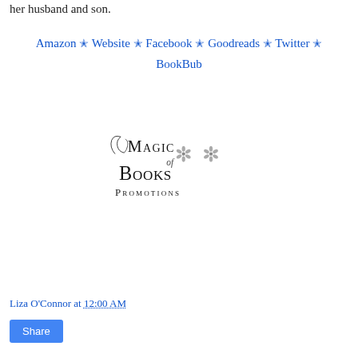her husband and son.
Amazon ✭ Website ✭ Facebook ✭ Goodreads ✭ Twitter ✭ BookBub
[Figure (logo): Magic of Books Promotions logo with decorative serif typography and floral ornaments]
Liza O'Connor at 12:00 AM
Share